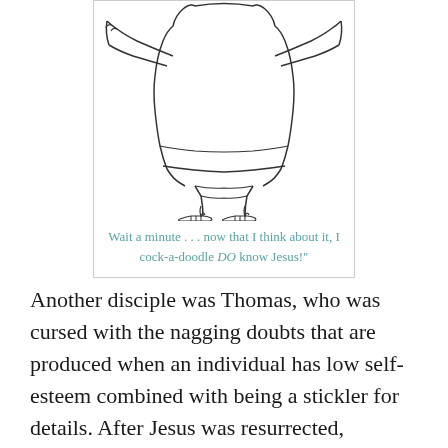[Figure (illustration): Line drawing of a rooster/cockerel standing upright with wings slightly raised, wearing sandals, viewed from behind/side]
Wait a minute . . . now that I think about it, I cock-a-doodle DO know Jesus!"
Another disciple was Thomas, who was cursed with the nagging doubts that are produced when an individual has low self-esteem combined with being a stickler for details. After Jesus was resurrected, Thomas refused to believe it until Jesus showed him the nail prints